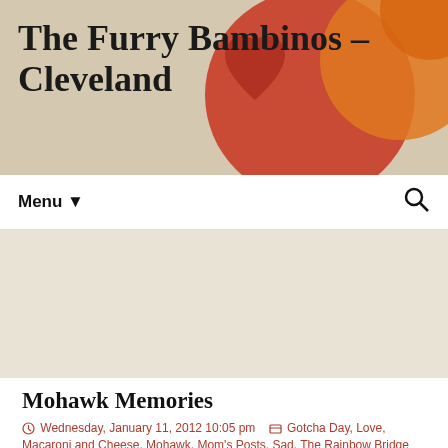The Furry Bambinos – Cleveland
Menu  🔍
Daily Archives: Wednesday, January 11, 2012 10:05 pm
Mohawk Memories
Wednesday, January 11, 2012 10:05 pm   Gotcha Day, Love, Macaroni and Cheese, Mohawk, Mom's Posts, Sad, The Rainbow Bridge   The Human Parents
Mom here. The Furry Bambinos graciously allowed me to